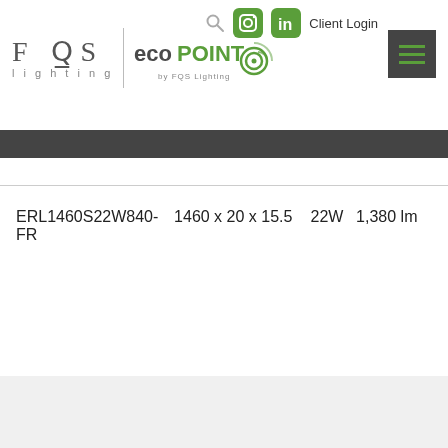[Figure (logo): FQS Lighting logo with divider and ecoPoint by FOS Lighting logo]
[Figure (logo): Social media icons (Instagram, LinkedIn), Client Login text, and hamburger menu button]
| ERL1460S22W840-FR | 1460 x 20 x 15.5 | 22W | 1,380 lm |